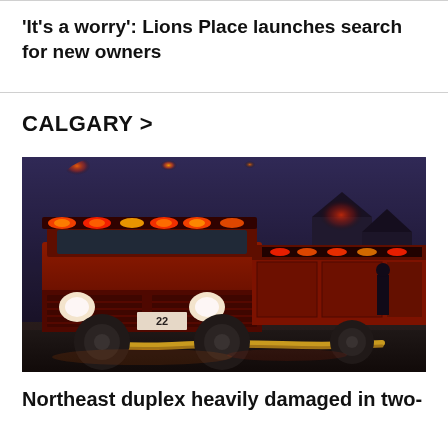'It's a worry': Lions Place launches search for new owners
CALGARY >
[Figure (photo): Fire trucks with flashing red and orange lights responding at dusk on a residential street, fire hose on the ground, a person visible in background]
Northeast duplex heavily damaged in two-